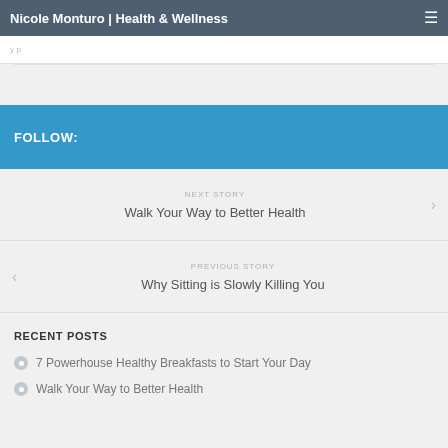Nicole Monturo | Health & Wellness
FOLLOW:
NEXT STORY
Walk Your Way to Better Health
PREVIOUS STORY
Why Sitting is Slowly Killing You
RECENT POSTS
7 Powerhouse Healthy Breakfasts to Start Your Day
Walk Your Way to Better Health